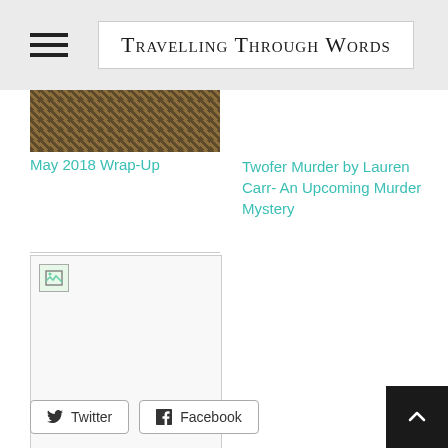Travelling Through Words
[Figure (photo): Textured dark brown gravel or bark image used as blog post thumbnail]
May 2018 Wrap-Up
Twofer Murder by Lauren Carr- An Upcoming Murder Mystery
[Figure (photo): Broken/missing image thumbnail with small icon]
The Invitation by Tyfany Williams (Guest Post, Spotlight & Giveaway)
Twitter  Facebook